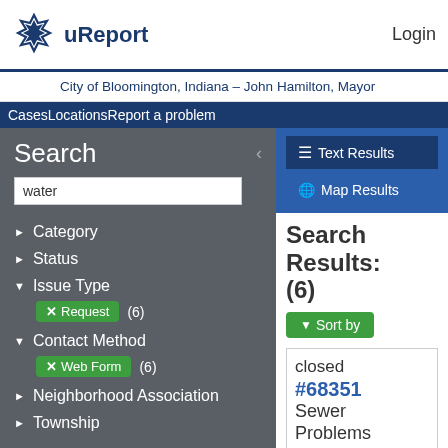uReport   Login
City of Bloomington, Indiana – John Hamilton, Mayor
CasesLocationsReport a problem
Search
water
Category
Status
Issue Type
Request (6)
Contact Method
Web Form (6)
Neighborhood Association
Township
Text Results
Map Results
Search Results: (6)
Sort by
closed #68351 Sewer Problems